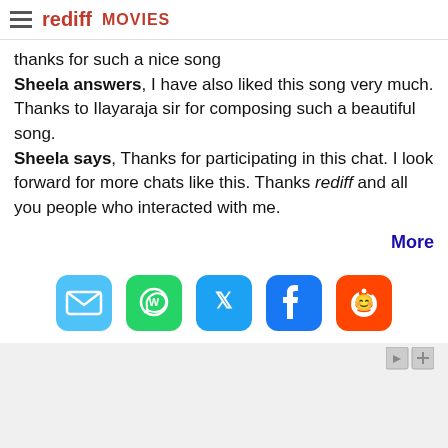rediff MOVIES
thanks for such a nice song
Sheela answers, I have also liked this song very much. Thanks to Ilayaraja sir for composing such a beautiful song.
Sheela says, Thanks for participating in this chat. I look forward for more chats like this. Thanks rediff and all you people who interacted with me.
More
[Figure (infographic): Row of five social share icon buttons: email (blue), WhatsApp (green), Twitter (blue), Facebook (blue), Reddit (orange-red)]